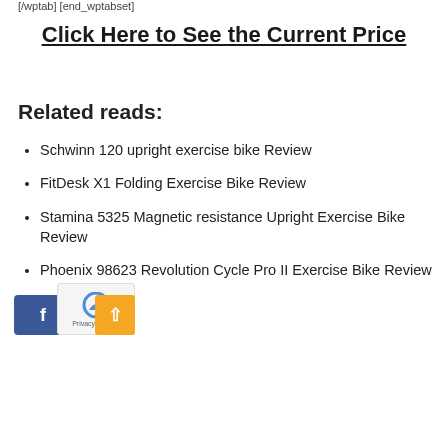[/wptab] [end_wptabset]
Click Here to See the Current Price
Related reads:
Schwinn 120 upright exercise bike Review
FitDesk X1 Folding Exercise Bike Review
Stamina 5325 Magnetic resistance Upright Exercise Bike Review
Phoenix 98623 Revolution Cycle Pro II Exercise Bike Review
[Figure (other): Social share buttons: Facebook, Twitter, Google+, StumbleUpon, LinkedIn, Pinterest]
Previous
ProForm Power 995i Treadmill Review
Weslo Cadence R 5.2 Treadmill Review